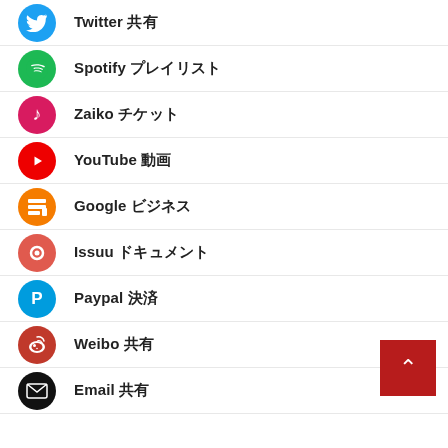Twitter 共有
Spotify プレイリスト
Zaiko チケット
YouTube 動画
Google ビジネス
Issuu ドキュメント
Paypal 決済
Weibo 共有
Email 共有